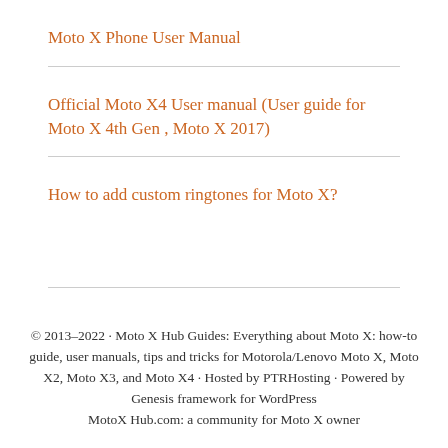Moto X Phone User Manual
Official Moto X4 User manual (User guide for Moto X 4th Gen , Moto X 2017)
How to add custom ringtones for Moto X?
© 2013–2022 · Moto X Hub Guides: Everything about Moto X: how-to guide, user manuals, tips and tricks for Motorola/Lenovo Moto X, Moto X2, Moto X3, and Moto X4 · Hosted by PTRHosting · Powered by Genesis framework for WordPress MotoX Hub.com: a community for Moto X owner